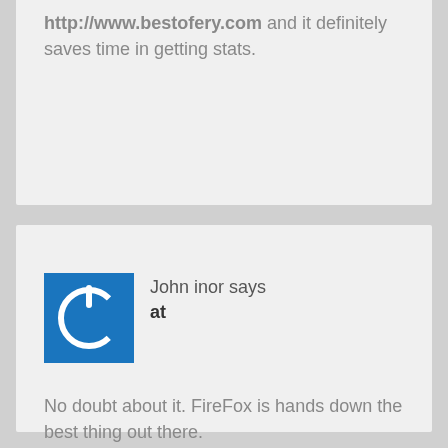http://www.bestofery.com and it definitely saves time in getting stats.
John inor says
at
[Figure (logo): Blue square avatar icon with white power button symbol]
No doubt about it. FireFox is hands down the best thing out there.
jess
http://www.anonymize.us.tc